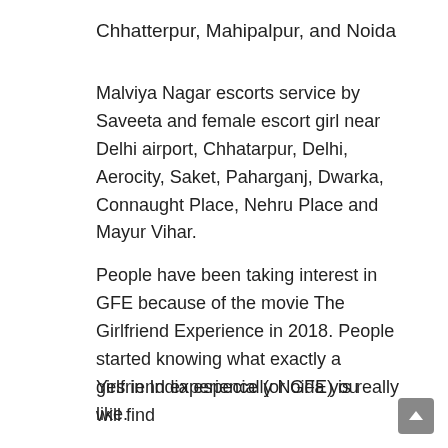Chhatterpur, Mahipalpur, and Noida
Malviya Nagar escorts service by Saveeta and female escort girl near Delhi airport, Chhatarpur, Delhi, Aerocity, Saket, Paharganj, Dwarka, Connaught Place, Nehru Place and Mayur Vihar.
People have been taking interest in GFE because of the movie The Girlfriend Experience in 2018. People started knowing what exactly a girlfriend experience (or GFE) is really like.
Yes in India especially Noida you will find